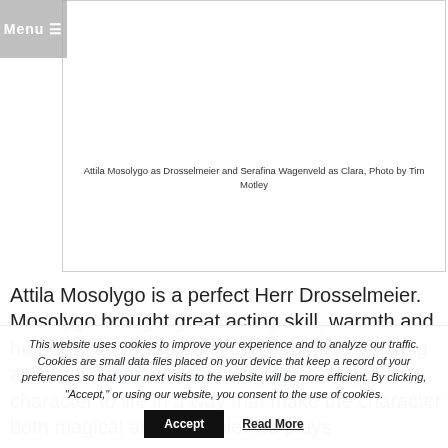Menu ≡
[Figure (photo): Ballet performance photo showing dancers on stage, Attila Mosolygo as Drosselmeier and Serafina Wagenveld as Clara]
Attila Mosolygo as Drosselmeier and Serafina Wagenveld as Clara, Photo by Tim Motley
Attila Mosolygo is a perfect Herr Drosselmeier. Mosolygo brought great acting skill, warmth and humor to the mysterious character. His dancing and Val Caniparoli's choreography bring the character to life in a way that make the character both magical and loveable. He plays
This website uses cookies to improve your experience and to analyze our traffic. Cookies are small data files placed on your device that keep a record of your preferences so that your next visits to the website will be more efficient. By clicking, "Accept," or using our website, you consent to the use of cookies.